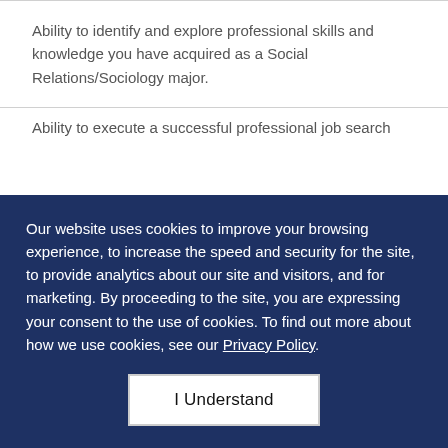Ability to identify and explore professional skills and knowledge you have acquired as a Social Relations/Sociology major.
Ability to execute a successful professional job search
Our website uses cookies to improve your browsing experience, to increase the speed and security for the site, to provide analytics about our site and visitors, and for marketing. By proceeding to the site, you are expressing your consent to the use of cookies. To find out more about how we use cookies, see our Privacy Policy.
I Understand